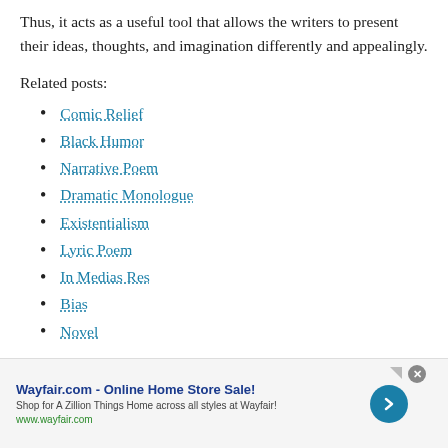Thus, it acts as a useful tool that allows the writers to present their ideas, thoughts, and imagination differently and appealingly.
Related posts:
Comic Relief
Black Humor
Narrative Poem
Dramatic Monologue
Existentialism
Lyric Poem
In Medias Res
Bias
Novel
[Figure (other): Wayfair.com advertisement banner: 'Wayfair.com - Online Home Store Sale! Shop for A Zillion Things Home across all styles at Wayfair! www.wayfair.com' with a blue arrow button and close button.]